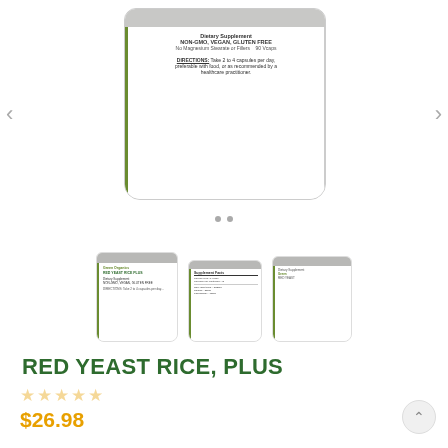[Figure (photo): Main product image of a Red Yeast Rice Plus dietary supplement bottle (Green Organics brand) shown from the back/side, displaying directions text: DIRECTIONS: Take 2 to 4 capsules per day, preferable with food, or as recommended by a healthcare practitioner. Label also shows: Dietary Supplement, NON-GMO, VEGAN, GLUTEN FREE, No Magnesium Stearate or Fillers, 90 Vcaps. Navigation arrows on left and right sides. Two pagination dots below.]
[Figure (photo): Three thumbnail images of Red Yeast Rice Plus supplement bottles showing front, back/nutrition facts, and side views of the product.]
RED YEAST RICE, PLUS
★★★★★ (empty stars rating)
$26.98